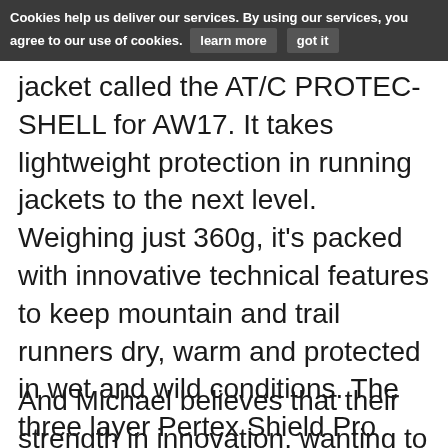Cookies help us deliver our services. By using our services, you agree to our use of cookies. learn more   got it
jacket called the AT/C PROTEC-SHELL for AW17. It takes lightweight protection in running jackets to the next level. Weighing just 360g, it's packed with innovative technical features to keep mountain and trail runners dry, warm and protected in wet and wild conditions. The three layer Pertex Shield Pro fabric works in tandem with features such as streamline technology on the cuffs, which diverts water from the hands."
And Michael believes that their strength in innovation, wanting to push the boundaries